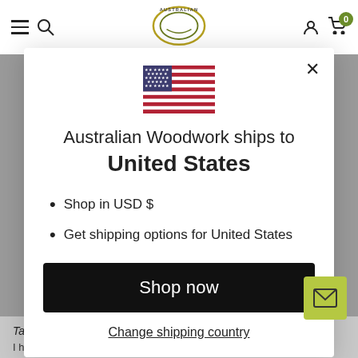Australian Woodwork — navigation bar with hamburger menu, search, logo, account, cart (0)
[Figure (screenshot): US flag emoji/icon centered in modal]
Australian Woodwork ships to
United States
Shop in USD $
Get shipping options for United States
Shop now
Change shipping country
Tasmania timber coasters
I have had coasters for a number of years I am very happy with them